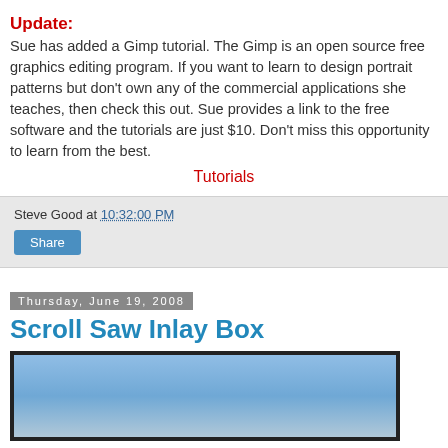Update:
Sue has added a Gimp tutorial. The Gimp is an open source free graphics editing program. If you want to learn to design portrait patterns but don't own any of the commercial applications she teaches, then check this out. Sue provides a link to the free software and the tutorials are just $10. Don't miss this opportunity to learn from the best.
Tutorials
Steve Good at 10:32:00 PM
Share
Thursday, June 19, 2008
Scroll Saw Inlay Box
[Figure (photo): Photo of a person, partially visible, with a blue background.]